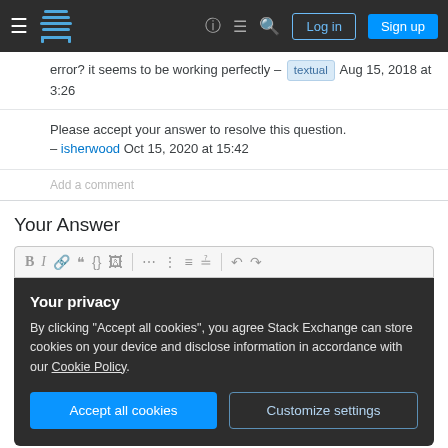Stack Exchange navigation bar with hamburger menu, logo, help icon, chat icon, search icon, Log in and Sign up buttons
error? it seems to be working perfectly – textual Aug 15, 2018 at 3:26
Please accept your answer to resolve this question. – isherwood Oct 15, 2020 at 15:42
Add a comment
Your Answer
[Figure (screenshot): Text editor toolbar with bold, italic, link, blockquote, code, image, ordered list, unordered list, alignment, undo, redo buttons]
Your privacy
By clicking "Accept all cookies", you agree Stack Exchange can store cookies on your device and disclose information in accordance with our Cookie Policy.
Accept all cookies
Customize settings